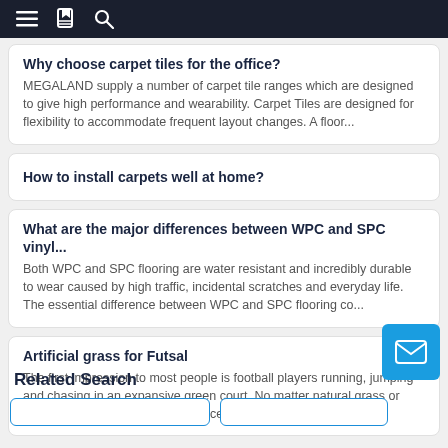navigation bar with menu, bookmarks, and search icons
Why choose carpet tiles for the office?
MEGALAND supply a number of carpet tile ranges which are designed to give high performance and wearability. Carpet Tiles are designed for flexibility to accommodate frequent layout changes. A floor...
How to install carpets well at home?
What are the major differences between WPC and SPC vinyl...
Both WPC and SPC flooring are water resistant and incredibly durable to wear caused by high traffic, incidental scratches and everyday life. The essential difference between WPC and SPC flooring co...
Artificial grass for Futsal
The first impression to most people is football players running, jumping and chasing in an expansive green court. No matter natural grass or synthetic grass, this is the first place when we want to...
Related Search